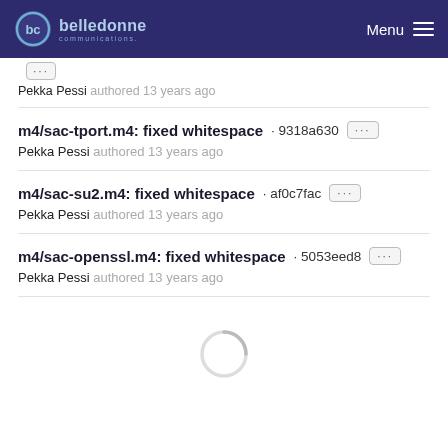belledonne communications — Menu
m4/sac-tport.m4: fixed whitespace · 9318a630
Pekka Pessi authored 13 years ago
m4/sac-su2.m4: fixed whitespace · af0c7fac
Pekka Pessi authored 13 years ago
m4/sac-openssl.m4: fixed whitespace · 5053eed8
Pekka Pessi authored 13 years ago
[Figure (other): Loading spinner (circular progress indicator)]